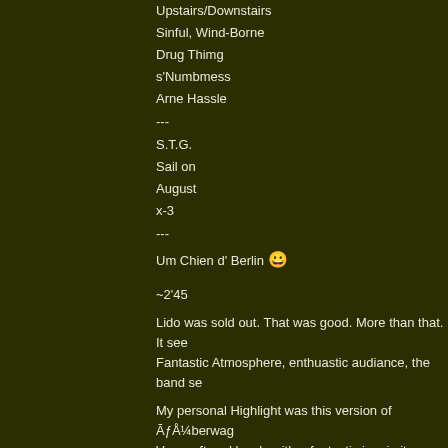Upstairs/Downstairs
Sinful, Wind-Borne
Drug Thimg
s'Numbmess
Arne Hassle
---
S.T.G.
Sail on
August
x-3
---
Um Chien d' Berlin 😀
~2'45
Lido was sold out. That was good. More than that. It see Fantastic Atmosphere, enthuastic audiance, the band se
My personal Highlight was this version of ĀƒÅ¼berwag Very soft and lovely with a fantastic jam in it. Bent said before something like "this is an old song we h work better"(or so). Yes it works better! Another Highlight was Hell, specially part3 - long and int But this concert was a highlight itself.
Now I have to go to bed looking forward to cologne